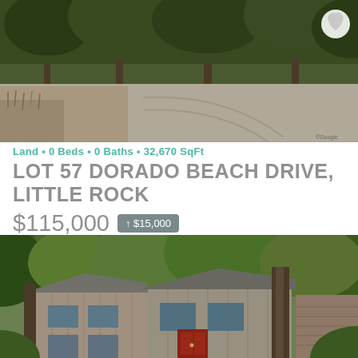[Figure (photo): Aerial/road view of wooded lot with driveway, trees in background, heart icon in top right corner]
Land • 0 Beds • 0 Baths • 32,670 SqFt
LOT 57 DORADO BEACH DRIVE, LITTLE ROCK
$115,000  ↑ $15,000
MLS® # 21020804
[Figure (photo): House surrounded by large trees, two-story structure with wood siding and red door, brick accents]